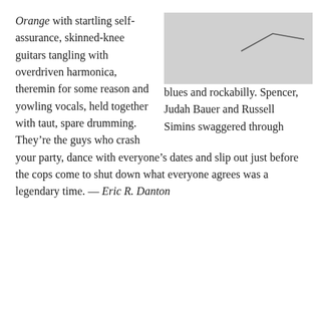[Figure (illustration): Partial image showing a light gray background with a simple line drawing resembling a checkmark or geometric angle shape in the upper portion.]
blues and rockabilly. Spencer, Judah Bauer and Russell Simins swaggered through Orange with startling self-assurance, skinned-knee guitars tangling with overdriven harmonica, theremin for some reason and yowling vocals, held together with taut, spare drumming. They’re the guys who crash your party, dance with everyone’s dates and slip out just before the cops come to shut down what everyone agrees was a legendary time. — Eric R. Danton